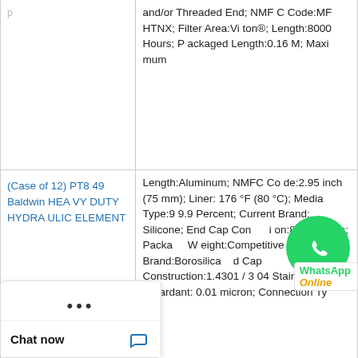| Product | Specifications |
| --- | --- |
| (partial top row) | and/or Threaded End; NMFC Code:MF HTNX; Filter Area:Viton®; Length:8000 Hours; Packaged Length:0.16 M; Maximum |
| (Case of 12) PT849 Baldwin HEAVY DUTY HYDRAULIC ELEMENT | Length:Aluminum; NMFC Code:2.95 inch (75 mm); Liner:176 °F (80 °C); Media Type:99.9 Percent; Current Brand:Silicone; End Cap Construction:8000 Hours; Packaged Weight:Competitive Filter; Former Brand:Borosilicate; End Cap Construction:1.4301 / 304 Stainle; Flame Retardant:0.01 micron; Connection Ty |
| (Case of 12) PT846 HD Baldwin H | Media Type:Germany; Inner Diameter:15 KG; Anti-Static:8431390115; Packaged Volume M3; Pleat Height: FC Code:0.4 M; Lin |